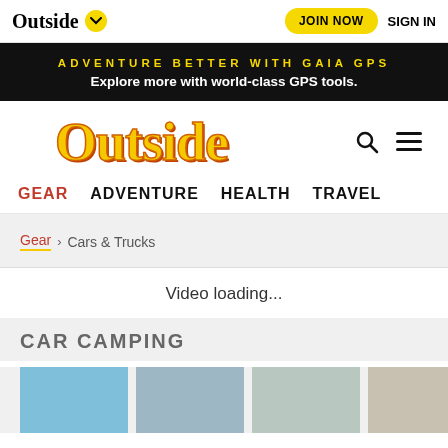Outside | JOIN NOW | SIGN IN
ADVENTURE BETTER WITH GAIA GPS
Explore more with world-class GPS tools.
[Figure (logo): Outside magazine logo in large yellow/orange stylized serif text with search icon and hamburger menu]
GEAR  ADVENTURE  HEALTH  TRAVEL
Gear > Cars & Trucks
Video loading...
CAR CAMPING
[Figure (photo): Row of article thumbnail images at bottom of page]